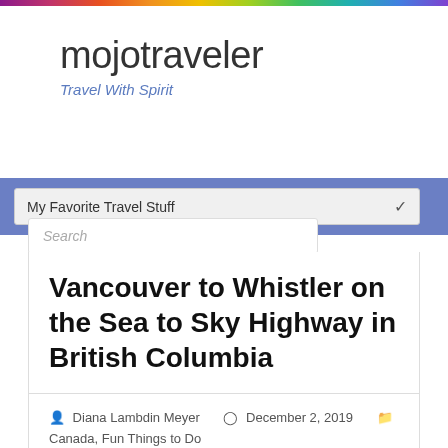mojotraveler
Travel With Spirit
My Favorite Travel Stuff
Search
Vancouver to Whistler on the Sea to Sky Highway in British Columbia
Diana Lambdin Meyer   December 2, 2019   Canada, Fun Things to Do